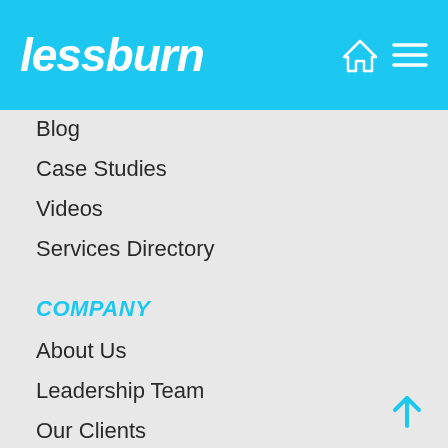lessburn
Blog
Case Studies
Videos
Services Directory
COMPANY
About Us
Leadership Team
Our Clients
Career & Culture
Digital Academy
Contact Us
DIGITAL REPORTS
Competitive Marketing Intelligence
Digital Audience Measurable